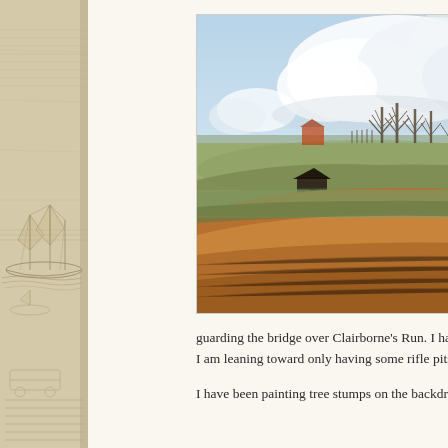[Figure (illustration): A painted landscape scene showing earthen fortifications or embankments with reddish-brown soil in the foreground, open grassy fields in the middle ground, bare winter trees and a tree line in the background, a small dark wooden structure (guard shack or shed), and a partly cloudy sky. The style is a realistic oil painting of a Civil War-era fortification scene.]
guarding the bridge over Clairborne's Run. I haven't decided I am leaning toward only having some rifle pits and not a bl
I have been painting tree stumps on the backdrop since the